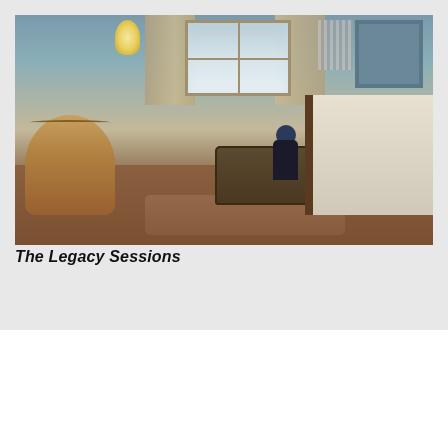[Figure (photo): Indoor photograph of a room with hardwood floors, a wicker basket, an old trunk, a bed with white bedding, curtains by a window, and a person in dark clothing and a blue beanie sitting on the floor wearing headphones.]
The Legacy Sessions
PRESENTING SPONSOR
[Figure (logo): The Joseph and Robert Cornell Memorial Foundation logo, with a tall rectangular icon and text in dark blue.]